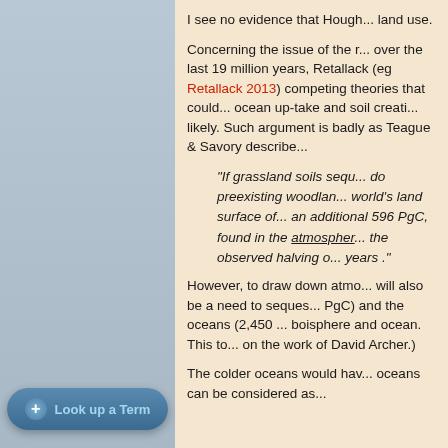I see no evidence that Hough... land use.
Concerning the issue of the re... over the last 19 million years, ... Retallack (eg Retallack 2013) ... competing theories that could... ocean up-take and soil creatio... likely. Such argument is badly... as Teague & Savory describe...
"If grassland soils sequ... do preexisting woodland... world's land surface of... an additional 596 PgC,... found in the atmosphere... the observed halving o... years ."
However, to draw down atmo... will also be a need to seques... PgC) and the oceans (2,450 ... boisphere and ocean. This to... on the work of David Archer.)
The colder oceans would hav... oceans can be considered as...
Look up a Term